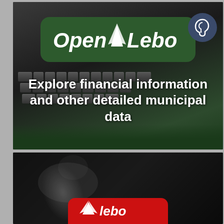[Figure (screenshot): Open Lebo app screenshot showing top banner with keyboard background, Open Lebo logo in green pill shape, ear accessibility icon, and tagline 'Explore financial information and other detailed municipal data' in white text on dark background]
Explore financial information and other detailed municipal data
[Figure (screenshot): Bottom portion of Open Lebo app screenshot showing dark background with partial red Open Lebo logo pill visible at the bottom]